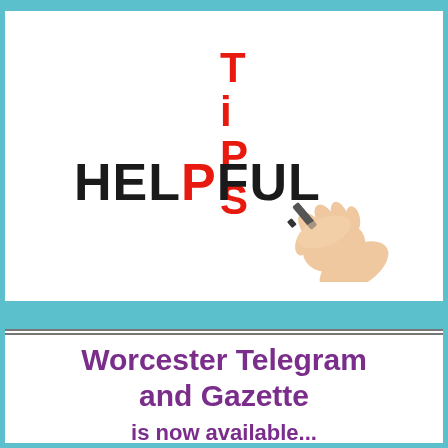[Figure (illustration): Illustration showing the word HELPFUL written horizontally in black bold letters with the P highlighted in red, and the word TIPS written vertically in red intersecting at the P, with a hand holding a marker drawing the text.]
Worcester Telegram and Gazette
is now available...